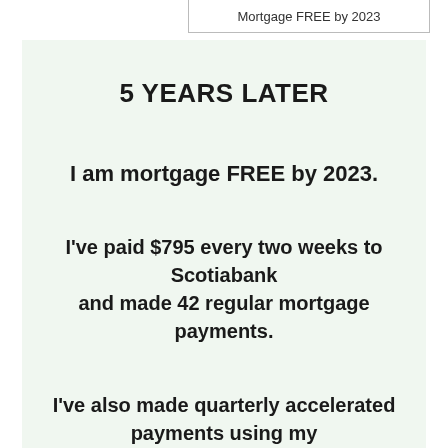Mortgage FREE by 2023
5 YEARS LATER
I am mortgage FREE by 2023.
I've paid $795 every two weeks to Scotiabank and made 42 regular mortgage payments.
I've also made quarterly accelerated payments using my line of credit!